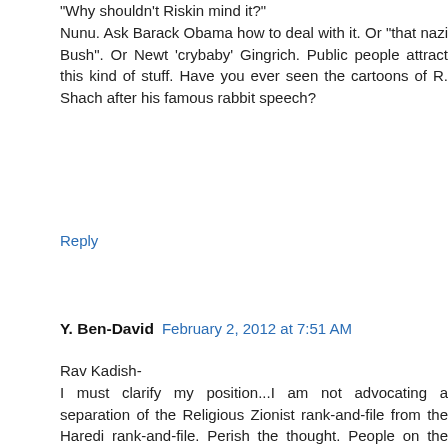"Why shouldn't Riskin mind it?" Nunu. Ask Barack Obama how to deal with it. Or "that nazi Bush". Or Newt 'crybaby' Gingrich. Public people attract this kind of stuff. Have you ever seen the cartoons of R. Shach after his famous rabbit speech?
Reply
Y. Ben-David  February 2, 2012 at 7:51 AM
Rav Kadish- I must clarify my position...I am not advocating a separation of the Religious Zionist rank-and-file from the Haredi rank-and-file. Perish the thought. People on the ground level get along fine, except for these extremists. However, I have even davened with my kippah serugah on my head in Toldos Aharon and Satmar and nobody cared. I regularly go to a Hassidic shul for Kabbalat Shabbat because I like the style there and people welcome me warmly. I am sure I could go daven in Friedman's shul and no one would say anything. However, should I begin proselytizing my views at any of these places, I am sure things would heat up, just as we would react if people with views hostile to ours came to